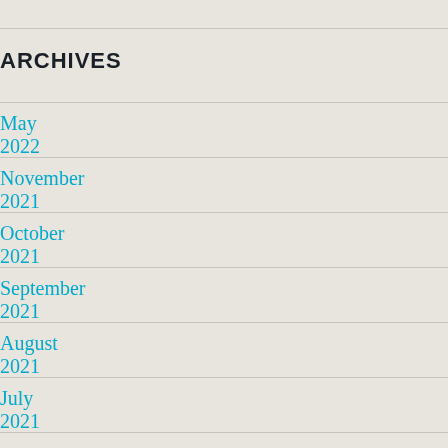ARCHIVES
May 2022
November 2021
October 2021
September 2021
August 2021
July 2021
June 2021
May 2021